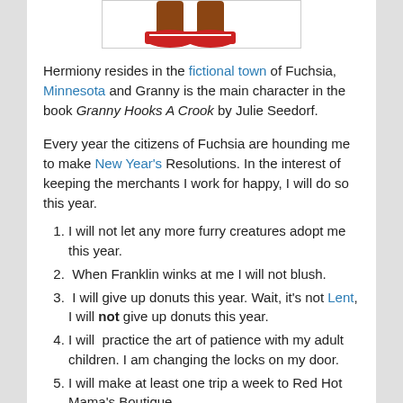[Figure (illustration): Partial illustration showing a cartoon character's feet with red sneakers, cropped at the top of the page.]
Hermiony resides in the fictional town of Fuchsia, Minnesota and Granny is the main character in the book Granny Hooks A Crook by Julie Seedorf.
Every year the citizens of Fuchsia are hounding me to make New Year's Resolutions. In the interest of keeping the merchants I work for happy, I will do so this year.
I will not let any more furry creatures adopt me this year.
When Franklin winks at me I will not blush.
I will give up donuts this year. Wait, it's not Lent, I will not give up donuts this year.
I will  practice the art of patience with my adult children. I am changing the locks on my door.
I will make at least one trip a week to Red Hot Mama's Boutique.
I will remember where my cars are this year. I will not lose them.